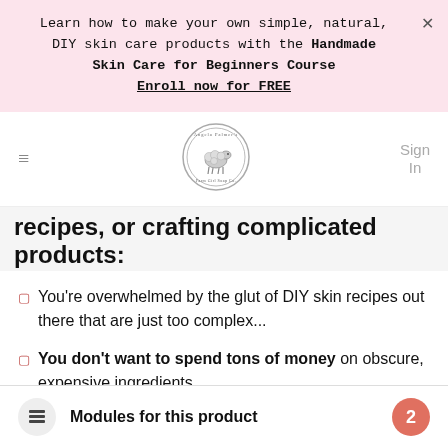Learn how to make your own simple, natural, DIY skin care products with the Handmade Skin Care for Beginners Course
Enroll now for FREE
[Figure (logo): Angela Palmer's Farm Girl Soap Co. circular logo with sheep illustration]
recipes, or crafting complicated products:
You're overwhelmed by the glut of DIY skin recipes out there that are just too complex...
You don't want to spend tons of money on obscure, expensive ingredients...
Modules for this product